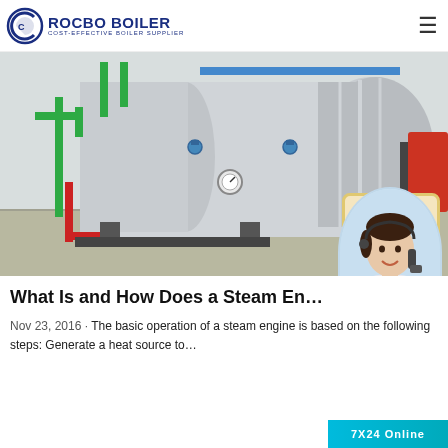[Figure (logo): Rocbo Boiler logo with crescent/C graphic and text: ROCBO BOILER, COST-EFFECTIVE BOILER SUPPLIER]
[Figure (photo): Industrial boiler room with a large horizontal cylindrical stainless steel boiler, green and red pipes, gauges, and a 10% DISCOUNT badge overlay, plus a customer service agent photo]
What Is and How Does a Steam En...
Nov 23, 2016 · The basic operation of a steam engine is based on the following steps: Generate a heat source to...
[Figure (photo): Customer service agent (woman with headset) in circular frame with 7X24 Online badge]